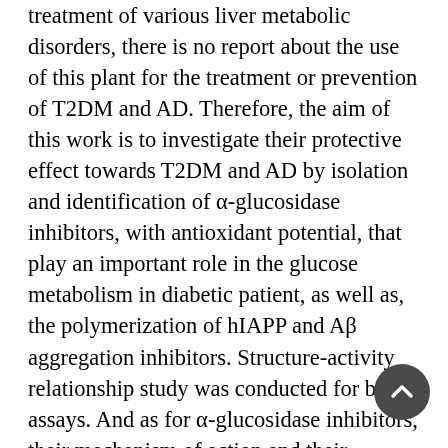treatment of various liver metabolic disorders, there is no report about the use of this plant for the treatment or prevention of T2DM and AD. Therefore, the aim of this work is to investigate their protective effect towards T2DM and AD by isolation and identification of α-glucosidase inhibitors, with antioxidant potential, that play an important role in the glucose metabolism in diabetic patient, as well as, the polymerization of hIAPP and Aβ aggregation inhibitors. Structure-activity relationship study was conducted for both assays. And as for α-glucosidase inhibitors, their mechanism of action and their synergistic potential when applied with a very low concentration of acarbose were also suggesting that they can be used not only as α-glucosidase inhibitors but also be combined with established α-glucosidase inhibitors to reduce their adverse effect. The antioxidant potential of the purified substances was evaluated by DPPH and